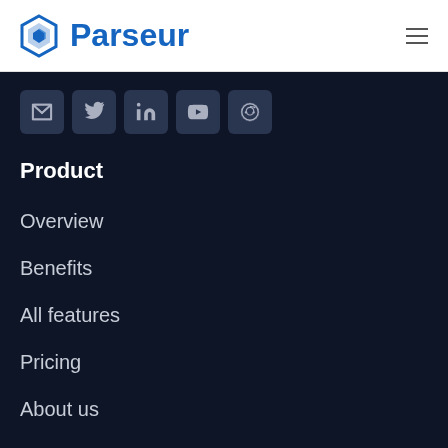Parseur
[Figure (logo): Parseur logo with hexagonal icon and blue text 'Parseur']
Social media icons: email, Twitter, LinkedIn, YouTube, Reddit
Product
Overview
Benefits
All features
Pricing
About us
Blog